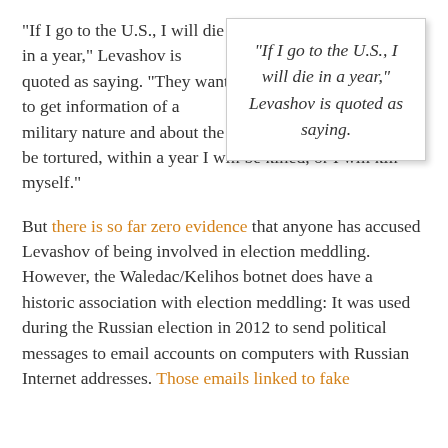“If I go to the U.S., I will die in a year,” Levashov is quoted as saying. “They want to get information of a military nature and about the United Russia party. I will be tortured, within a year I will be killed, or I will kill myself.”
“If I go to the U.S., I will die in a year,” Levashov is quoted as saying.
But there is so far zero evidence that anyone has accused Levashov of being involved in election meddling. However, the Waledac/Kelihos botnet does have a historic association with election meddling: It was used during the Russian election in 2012 to send political messages to email accounts on computers with Russian Internet addresses. Those emails linked to fake